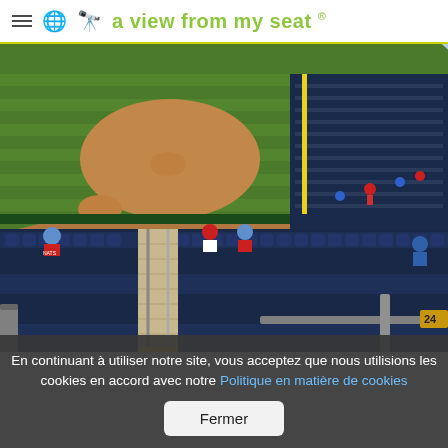≡ 🌐 👀 a view from my seat ®
[Figure (photo): View from a baseball stadium seat showing the green striped outfield grass, warning track, and mostly empty dark navy blue seats in the foreground. A few spectators wearing red and blue are visible in the stands. Handrail steps run down the center aisle.]
En continuant à utiliser notre site, vous acceptez que nous utilisions les cookies en accord avec notre Politique en matière de cookies
Fermer